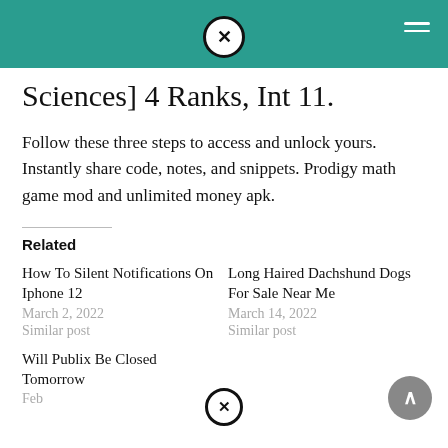Sciences] 4 Ranks, Int 11.
Follow these three steps to access and unlock yours. Instantly share code, notes, and snippets. Prodigy math game mod and unlimited money apk.
Related
How To Silent Notifications On Iphone 12
March 2, 2022
Similar post
Long Haired Dachshund Dogs For Sale Near Me
March 14, 2022
Similar post
Will Publix Be Closed Tomorrow